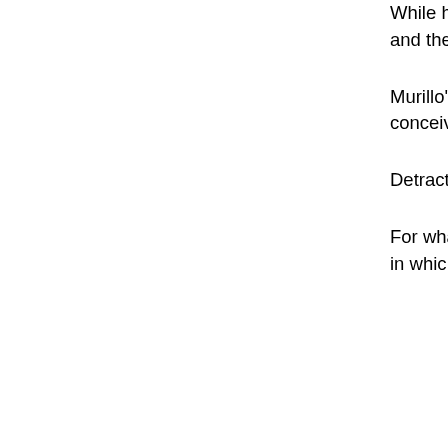While he also p abstract paintin together on the so far and the r Rubell, founde Miami) have sta
Murillo's paintin fragments of te and in the artis conceives inde he works.
Detractors clain considered as t art market phe
For what regar years ago, Mur GARÇONS" at karaoke in whic with the art wo